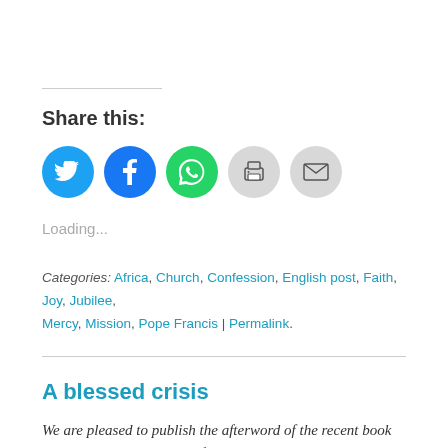Share this:
[Figure (infographic): Row of five circular social share buttons: Twitter (blue), Facebook (blue), WhatsApp (green), Print (light grey), Email (light grey)]
Loading...
Categories: Africa, Church, Confession, English post, Faith, Joy, Jubilee, Mercy, Mission, Pope Francis | Permalink.
A blessed crisis
We are pleased to publish the afterword of the recent book by the Vatican journalist of Rai 1 Italian television channel